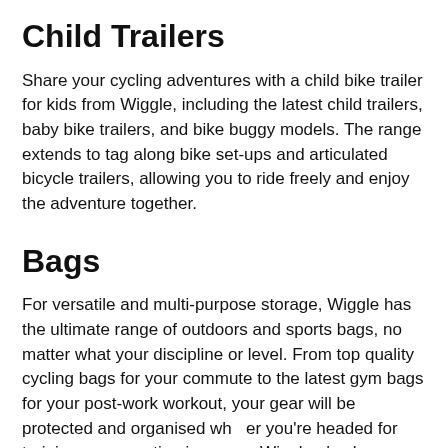Child Trailers
Share your cycling adventures with a child bike trailer for kids from Wiggle, including the latest child trailers, baby bike trailers, and bike buggy models. The range extends to tag along bike set-ups and articulated bicycle trailers, allowing you to ride freely and enjoy the adventure together.
Bags
For versatile and multi-purpose storage, Wiggle has the ultimate range of outdoors and sports bags, no matter what your discipline or level. From top quality cycling bags for your commute to the latest gym bags for your post-work workout, your gear will be protected and organised whether you're headed for training or competing in a race. Wiggle also has a huge selection of top running